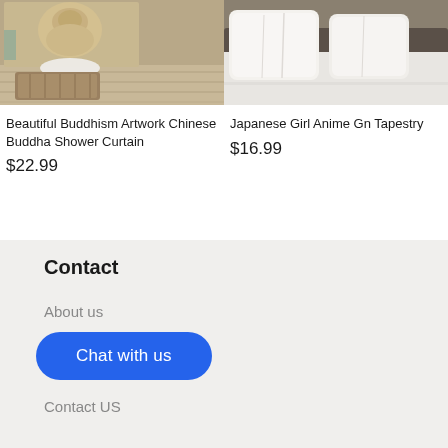[Figure (photo): Product photo of Beautiful Buddhism Artwork Chinese Buddha Shower Curtain — shows a Buddha statue with decorative bath mat on wooden floor]
[Figure (photo): Product photo of Japanese Girl Anime Gn Tapestry — shows white pillows/bedding on a bed]
Beautiful Buddhism Artwork Chinese Buddha Shower Curtain
$22.99
Japanese Girl Anime Gn Tapestry
$16.99
Contact
About us
Chat with us
Contact US